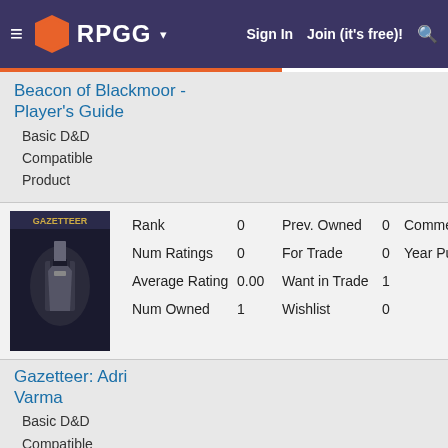RPGG — Sign In  Join (it's free)!
Beacon of Blackmoor - Player's Guide
Basic D&D Compatible Product
[Figure (illustration): Cover art for Gazetteer: Adri Varma showing an armored dark knight figure on a dark background with the title GAZETTEER]
| Stat | Value | Stat | Value | Extra |
| --- | --- | --- | --- | --- |
| Rank | 0 | Prev. Owned | 0 | Comme... |
| Num Ratings | 0 | For Trade | 0 | Year Pu... |
| Average Rating | 0.00 | Want in Trade | 1 |  |
| Num Owned | 1 | Wishlist | 0 |  |
Gazetteer: Adri Varma
Basic D&D Compatible Product
[Figure (illustration): Cover art for Mystara 2300 BC Campaign Setting showing a dark reddish landscape]
| Stat | Value | Stat | Value | Extra |
| --- | --- | --- | --- | --- |
| Rank | 0 | Prev. Owned | 1 | Comme... |
| Num Ratings | 1 | For Trade | 0 | Year Pu... |
| Average Rating | 4.00 | Want in Trade | 0 |  |
| Num Owned | 1 | Wishlist | 0 |  |
Mystara 2300 BC Campaign Setting